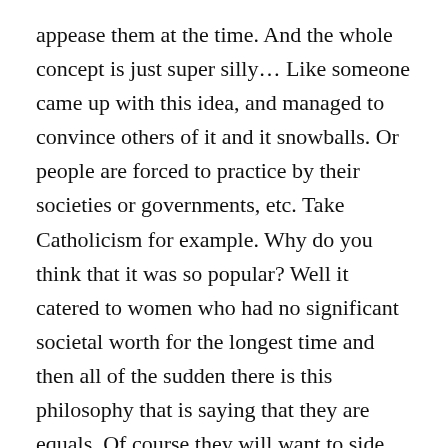appease them at the time. And the whole concept is just super silly… Like someone came up with this idea, and managed to convince others of it and it snowballs. Or people are forced to practice by their societies or governments, etc. Take Catholicism for example. Why do you think that it was so popular? Well it catered to women who had no significant societal worth for the longest time and then all of the sudden there is this philosophy that is saying that they are equals. Of course they will want to side with it. The catholic indulgences… a concept created solely to make money and capitalize on human nature. Back to other religions. Hinduism pre-dates all other modern religions. Ask any serious Hindu and I guarantee you that they will be steadfast in that they are right in their belief. Yet